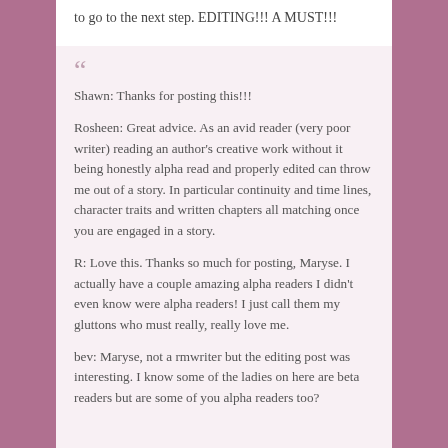to go to the next step. EDITING!!! A MUST!!!
Shawn:  Thanks for posting this!!!

Rosheen: Great advice. As an avid reader (very poor writer) reading an author's creative work without it being honestly alpha read and properly edited can throw me out of a story. In particular continuity and time lines, character traits and written chapters all matching once you are engaged in a story.

R: Love this. Thanks so much for posting, Maryse. I actually have a couple amazing alpha readers I didn't even know were alpha readers! I just call them my gluttons who must really, really love me.

bev: Maryse, not a rmwriter but the editing post was interesting. I know some of the ladies on here are beta readers but are some of you alpha readers too?